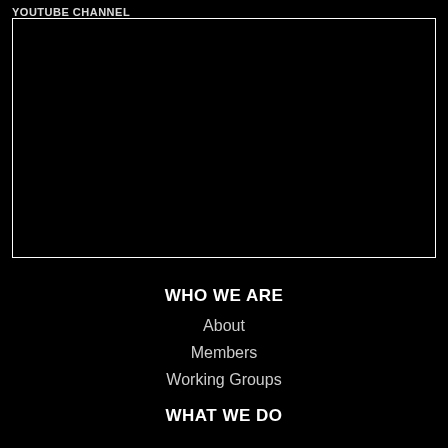YOUTUBE CHANNEL
[Figure (photo): Black rectangle with white border, representing a video player or image placeholder area]
WHO WE ARE
About
Members
Working Groups
WHAT WE DO